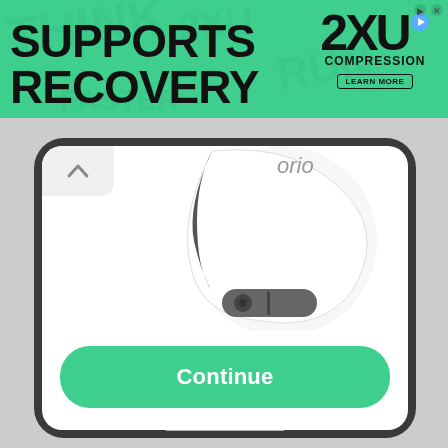[Figure (screenshot): Banner advertisement for 2XU Compression with text SUPPORTS RECOVERY in bold black on green background, with 2XU Compression logo and LEARN MORE button on the right side]
[Figure (screenshot): Mobile phone screen showing a white wireless earphone/earbud (AirPods-style) with a setup button visible, displayed on white background inside a dark phone frame, with a green Continue button at the bottom]